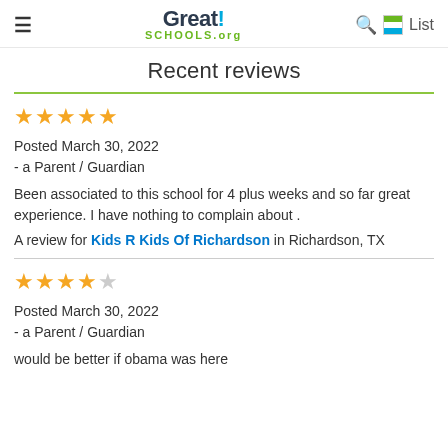Great!SCHOOLS.org
Recent reviews
★★★★★ Posted March 30, 2022 - a Parent / Guardian
Been associated to this school for 4 plus weeks and so far great experience. I have nothing to complain about .
A review for Kids R Kids Of Richardson in Richardson, TX
★★★★☆ Posted March 30, 2022 - a Parent / Guardian
would be better if obama was here